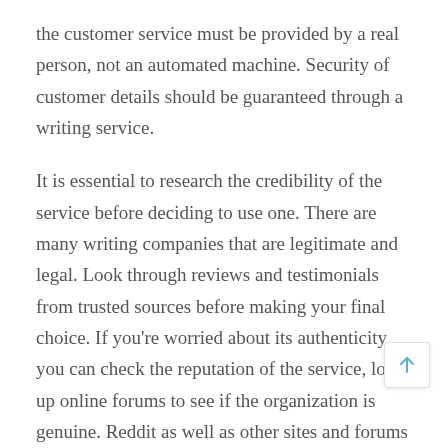the customer service must be provided by a real person, not an automated machine. Security of customer details should be guaranteed through a writing service.
It is essential to research the credibility of the service before deciding to use one. There are many writing companies that are legitimate and legal. Look through reviews and testimonials from trusted sources before making your final choice. If you're worried about its authenticity, you can check the reputation of the service, look up online forums to see if the organization is genuine. Reddit as well as other sites and forums can help you determine the best service for your needs. Additionally, ask your reliable acquaintances and members of trusted online forums for their